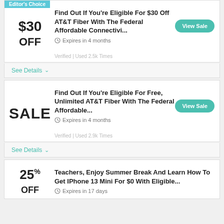Editor's Choice
Find Out If You're Eligible For $30 Off AT&T Fiber With The Federal Affordable Connectivi...
Expires in 4 months
Verified | Used 2.5k Times
See Details
Find Out If You're Eligible For Free, Unlimited AT&T Fiber With The Federal Affordable...
Expires in 4 months
Verified | Used 2.9k Times
See Details
Teachers, Enjoy Summer Break And Learn How To Get IPhone 13 Mini For $0 With Eligible...
Expires in 17 days